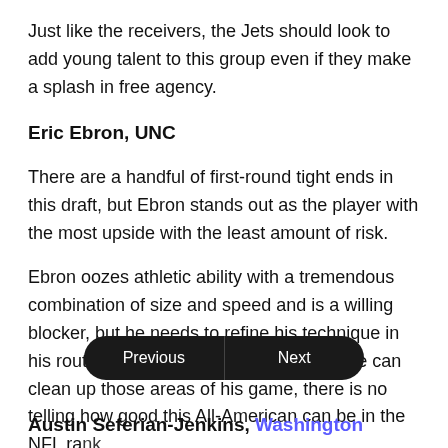Just like the receivers, the Jets should look to add young talent to this group even if they make a splash in free agency.
Eric Ebron, UNC
There are a handful of first-round tight ends in this draft, but Ebron stands out as the player with the most upside with the least amount of risk.
Ebron oozes athletic ability with a tremendous combination of size and speed and is a willing blocker, but he needs to refine his technique in his route-running and in-line blocking. If he can clean up those areas of his game, there is no telling how good this All-American can be in the NFL ra...
Austin Seferian-Jenkins, Washington